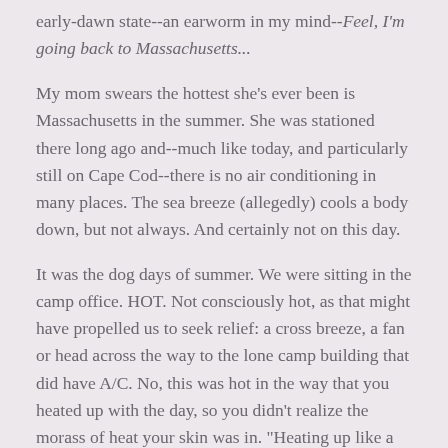early-dawn state--an earworm in my mind--Feel, I'm going back to Massachusetts...
My mom swears the hottest she's ever been is Massachusetts in the summer. She was stationed there long ago and--much like today, and particularly still on Cape Cod--there is no air conditioning in many places. The sea breeze (allegedly) cools a body down, but not always.  And certainly not on this day.
It was the dog days of summer.  We were sitting in the camp office.  HOT. Not consciously hot, as that might have propelled us to seek relief: a cross breeze, a fan or head across the way to the lone camp building that did have A/C.  No, this was hot in the way that you heated up with the day, so you didn't realize the morass of heat your skin was in.  "Heating up like a lobster," my friend Misa calls it.
We were sitting in the camp office, a small little place